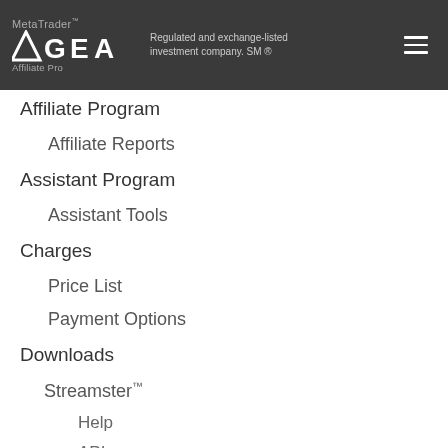MetaTrader™ AGEA Affiliate Program — Regulated and exchange-listed investment company. SM ®
Affiliate Program
Affiliate Reports
Assistant Program
Assistant Tools
Charges
Price List
Payment Options
Downloads
Streamster™
Help
API
MetaTrader™
Resources
Introduction to Markets